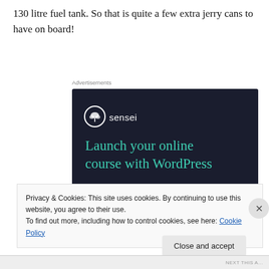130 litre fuel tank. So that is quite a few extra jerry cans to have on board!
[Figure (illustration): Sensei advertisement banner with dark navy background. Shows Sensei logo (bonsai tree icon in circle) with text 'sensei', large teal headline 'Launch your online course with WordPress', and a teal 'Learn More' pill button.]
Privacy & Cookies: This site uses cookies. By continuing to use this website, you agree to their use.
To find out more, including how to control cookies, see here: Cookie Policy